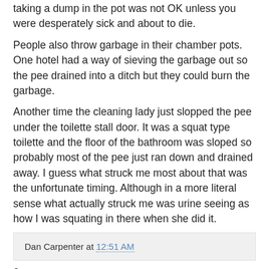taking a dump in the pot was not OK unless you were desperately sick and about to die.
People also throw garbage in their chamber pots. One hotel had a way of sieving the garbage out so the pee drained into a ditch but they could burn the garbage.
Another time the cleaning lady just slopped the pee under the toilette stall door. It was a squat type toilette and the floor of the bathroom was sloped so probably most of the pee just ran down and drained away. I guess what struck me most about that was the unfortunate timing. Although in a more literal sense what actually struck me was urine seeing as how I was squating in there when she did it.
Dan Carpenter at 12:51 AM
2 comments:
0.615 November 17, 2009 at 10:50 PM